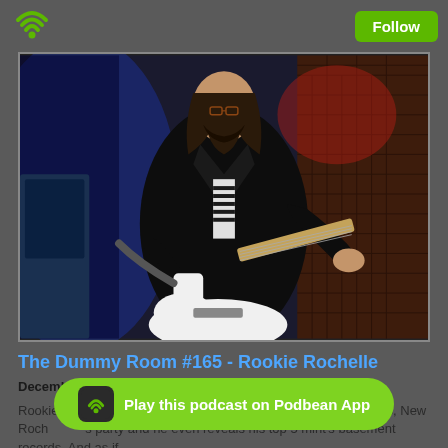Follow
[Figure (photo): A male musician with long hair and glasses wearing a black leather jacket over a striped shirt, playing a white electric bass guitar on stage in front of a brick wall backdrop with blue and red lighting.]
The Dummy Room #165 - Rookie Rochelle
December 17, 2021
Rookie Rochelle returns to Dummy Room to tell Young Rochelles, New Roch... s party and he even reveals his top 5 mint's basement records. And as if
Play this podcast on Podbean App